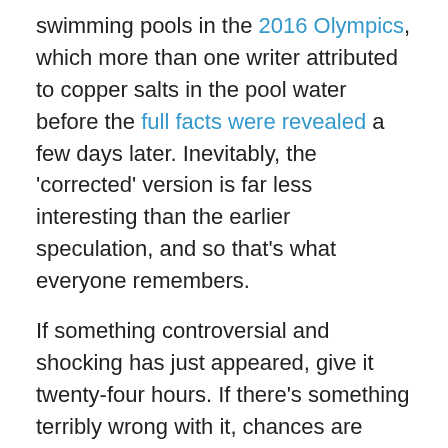swimming pools in the 2016 Olympics, which more than one writer attributed to copper salts in the pool water before the full facts were revealed a few days later. Inevitably, the 'corrected' version is far less interesting than the earlier speculation, and so that's what everyone remembers.
If something controversial and shocking has just appeared, give it twenty-four hours. If there's something terribly wrong with it, chances are someone will pick up on it in that time.
It's not easy; it's VARD
And that's it: Verify, Author, Reasonableness, Date. It doesn't cover every eventuality, but if you keep these